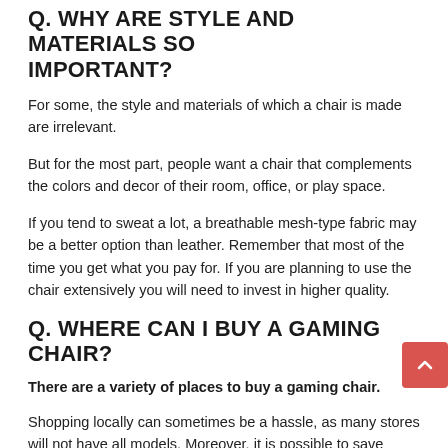Q. WHY ARE STYLE AND MATERIALS SO IMPORTANT?
For some, the style and materials of which a chair is made are irrelevant.
But for the most part, people want a chair that complements the colors and decor of their room, office, or play space.
If you tend to sweat a lot, a breathable mesh-type fabric may be a better option than leather. Remember that most of the time you get what you pay for. If you are planning to use the chair extensively you will need to invest in higher quality.
Q. WHERE CAN I BUY A GAMING CHAIR?
There are a variety of places to buy a gaming chair.
Shopping locally can sometimes be a hassle, as many stores will not have all models. Moreover, it is possible to save money on the shipping cost.